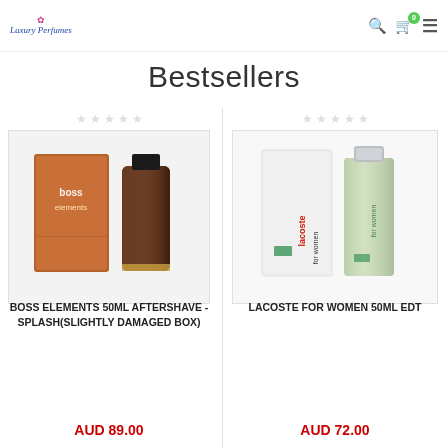Luxury Perfumes — navigation header with search, cart (0), and menu icons
Bestsellers
[Figure (photo): Boss Elements 50ml Aftershave product photo showing orange/brown box and brown glass bottle]
BOSS ELEMENTS 50ML AFTERSHAVE - SPLASH(SLIGHTLY DAMAGED BOX)
AUD 89.00
[Figure (photo): Lacoste For Women 50ml EDT product photo showing white box and light green bottle]
LACOSTE FOR WOMEN 50ML EDT
AUD 72.00